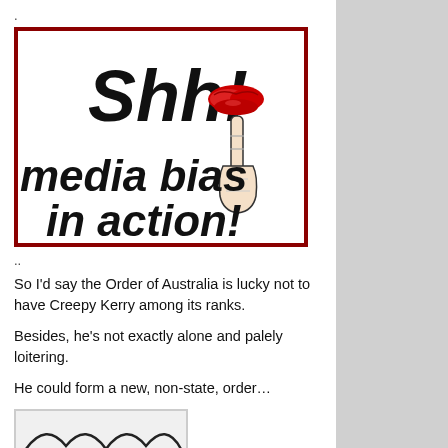.
[Figure (illustration): Graphic with bold italic text 'Shh!' and 'media bias in action!' with a drawing of a hand with finger raised to red lips, surrounded by a dark red border.]
..
So I'd say the Order of Australia is lucky not to have Creepy Kerry among its ranks.
Besides, he's not exactly alone and palely loitering.
He could form a new, non-state, order…
[Figure (illustration): Partial image at bottom, appears to show a decorative graphic or logo, mostly cut off.]